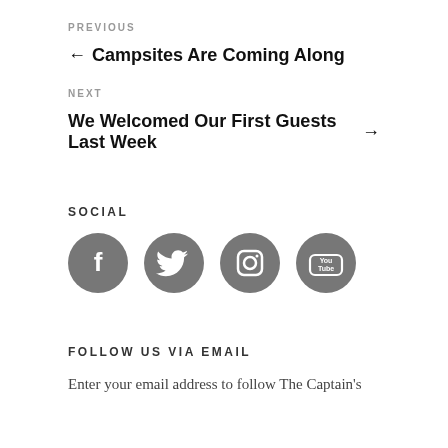PREVIOUS
← Campsites Are Coming Along
NEXT
We Welcomed Our First Guests Last Week →
SOCIAL
[Figure (illustration): Four circular social media icons (Facebook, Twitter, Instagram, YouTube) in dark grey circles arranged horizontally]
FOLLOW US VIA EMAIL
Enter your email address to follow The Captain's